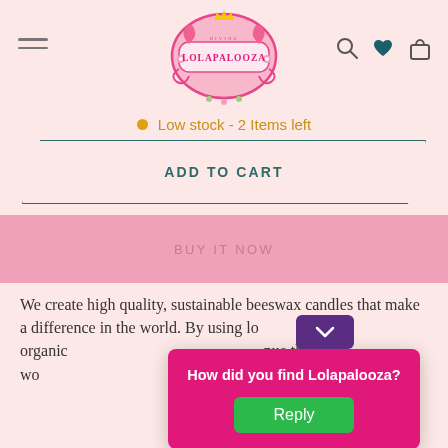[Figure (logo): Lolapalooza brand logo — ornate pink decorative frame with flamingos and flowers, text LOLAPALOOZA inside]
Low stock - 2 Items left
ADD TO CART
BUY IT NOW
We create high quality, sustainable beeswax candles that make a difference in the world. By using lo sourced organic their wo nd urban p
How did you find Lolapalooza?
Reply